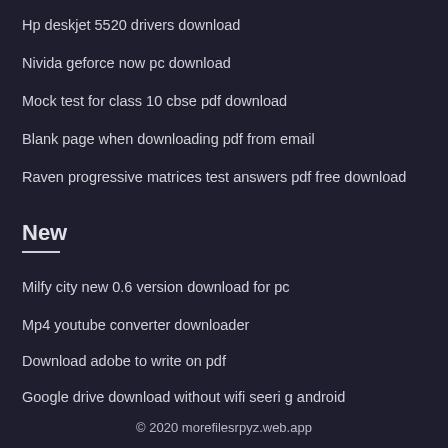Hp deskjet 5520 drivers download
Nivida geforce now pc download
Mock test for class 10 cbse pdf download
Blank page when downloading pdf from email
Raven progressive matrices test answers pdf free download
New
Milfy city new 0.6 version download for pc
Mp4 youtube converter downloader
Download adobe to write on pdf
Google drive download without wifi seeri g android
Dowload flex download brother mfc-9340cdw driver
© 2020 morefilesrpyz.web.app